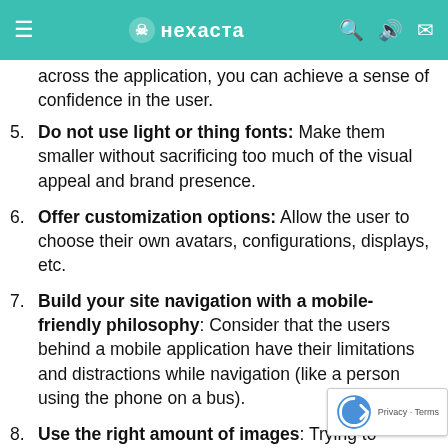нехаста navigation bar
Use the same function for an action: Consistency is essential for usability. When different functions behave the same way across the application, you can achieve a sense of confidence in the user.
Do not use light or thing fonts: Make them smaller without sacrificing too much of the visual appeal and brand presence.
Offer customization options: Allow the user to choose their own avatars, configurations, displays, etc.
Build your site navigation with a mobile-friendly philosophy: Consider that the users behind a mobile application have their limitations and distractions while navigation (like a person using the phone on a bus).
Use the right amount of images: Trying to impress the user with too many amazing images may sometimes affect the...